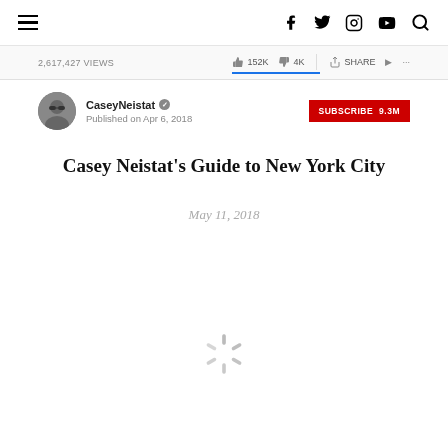Navigation bar with hamburger menu and social icons (Facebook, Twitter, Instagram, YouTube, Search)
2,617,427 VIEWS  👍 152K  👎 4K  ➤ SHARE  ➤  ...
CaseyNeistat ✓  Published on Apr 6, 2018  SUBSCRIBE 9.3M
Casey Neistat's Guide to New York City
May 11, 2018
[Figure (other): Loading spinner animation]